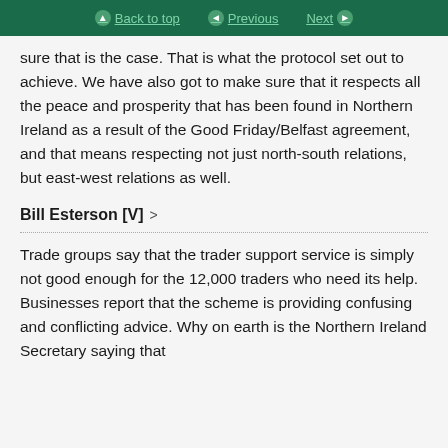Back to top   Previous   Next
sure that is the case. That is what the protocol set out to achieve. We have also got to make sure that it respects all the peace and prosperity that has been found in Northern Ireland as a result of the Good Friday/Belfast agreement, and that means respecting not just north-south relations, but east-west relations as well.
Bill Esterson [V]
Trade groups say that the trader support service is simply not good enough for the 12,000 traders who need its help. Businesses report that the scheme is providing confusing and conflicting advice. Why on earth is the Northern Ireland Secretary saying that